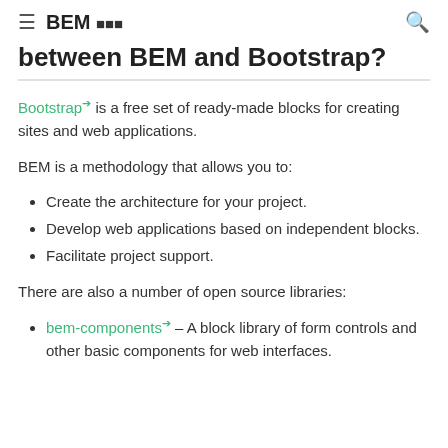≡  BEM 🟦🟦🟦  🔍
between BEM and Bootstrap?
Bootstrap↗ is a free set of ready-made blocks for creating sites and web applications.
BEM is a methodology that allows you to:
Create the architecture for your project.
Develop web applications based on independent blocks.
Facilitate project support.
There are also a number of open source libraries:
bem-components↗ – A block library of form controls and other basic components for web interfaces.